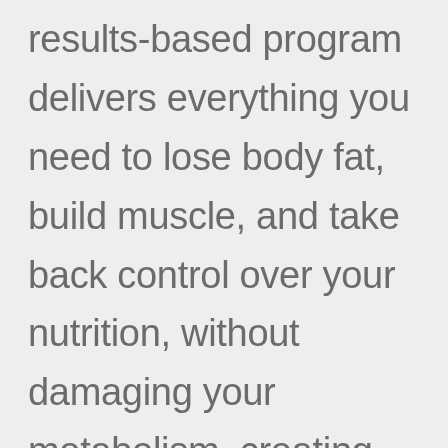results-based program delivers everything you need to lose body fat, build muscle, and take back control over your nutrition, without damaging your metabolism, creating hormonal imbalance, or